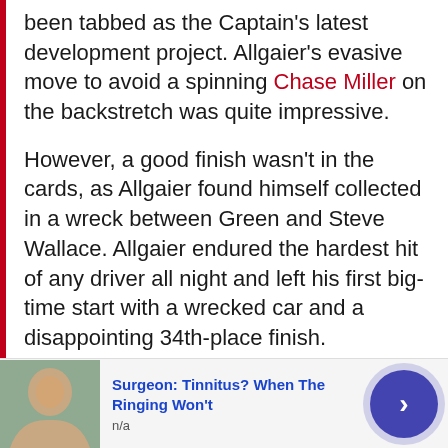been tabbed as the Captain's latest development project. Allgaier's evasive move to avoid a spinning Chase Miller on the backstretch was quite impressive.
However, a good finish wasn't in the cards, as Allgaier found himself collected in a wreck between Green and Steve Wallace. Allgaier endured the hardest hit of any driver all night and left his first big-time start with a wrecked car and a disappointing 34th-place finish. Nonetheless, the upside of this signing by Penske Racing was evident Friday night.
[Figure (photo): Advertisement banner with person's photo, text 'Surgeon: Tinnitus? When The Ringing Won't', source label 'n/a', and a blue circular arrow button]